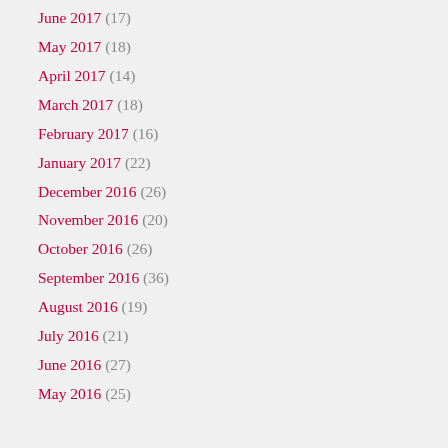June 2017 (17)
May 2017 (18)
April 2017 (14)
March 2017 (18)
February 2017 (16)
January 2017 (22)
December 2016 (26)
November 2016 (20)
October 2016 (26)
September 2016 (36)
August 2016 (19)
July 2016 (21)
June 2016 (27)
May 2016 (25)